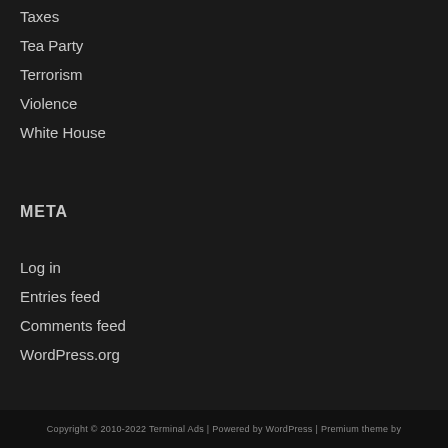Taxes
Tea Party
Terrorism
Violence
White House
META
Log in
Entries feed
Comments feed
WordPress.org
Copyright © 2010-2022 Terminal Ads | Powered by WordPress | Premium theme by